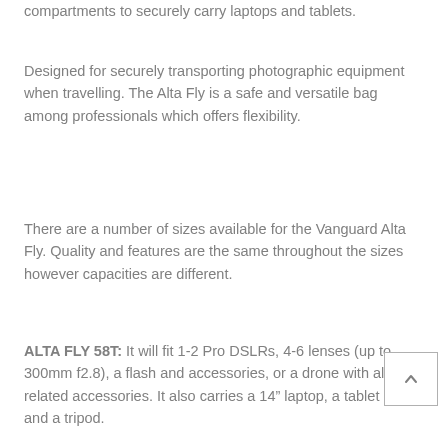compartments to securely carry laptops and tablets.
Designed for securely transporting photographic equipment when travelling. The Alta Fly is a safe and versatile bag among professionals which offers flexibility.
There are a number of sizes available for the Vanguard Alta Fly. Quality and features are the same throughout the sizes however capacities are different.
ALTA FLY 58T: It will fit 1-2 Pro DSLRs, 4-6 lenses (up to 300mm f2.8), a flash and accessories, or a drone with all related accessories. It also carries a 14″ laptop, a tablet and a tripod.